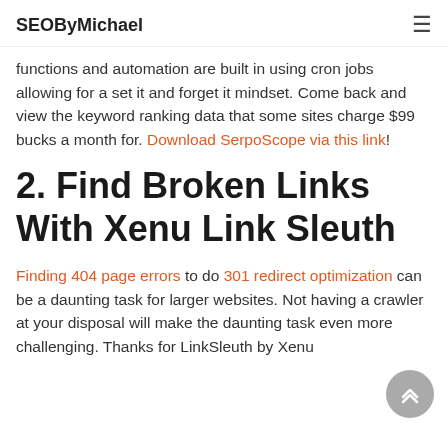SEOByMichael
functions and automation are built in using cron jobs allowing for a set it and forget it mindset. Come back and view the keyword ranking data that some sites charge $99 bucks a month for. Download SerpoScope via this link!
2. Find Broken Links With Xenu Link Sleuth
Finding 404 page errors to do 301 redirect optimization can be a daunting task for larger websites. Not having a crawler at your disposal will make the daunting task even more challenging. Thanks for LinkSleuth by Xenu